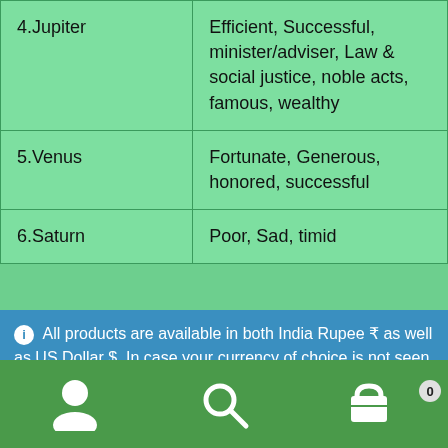| Planet | Characteristics |
| --- | --- |
| 4.Jupiter | Efficient, Successful, minister/adviser, Law & social justice, noble acts, famous, wealthy |
| 5.Venus | Fortunate, Generous, honored, successful |
| 6.Saturn | Poor, Sad, timid |
ℹ All products are available in both India Rupee ₹ as well as US Dollar $. In case your currency of choice is not seen, just click on any product and choose USD $ or INR ₹. Dismiss